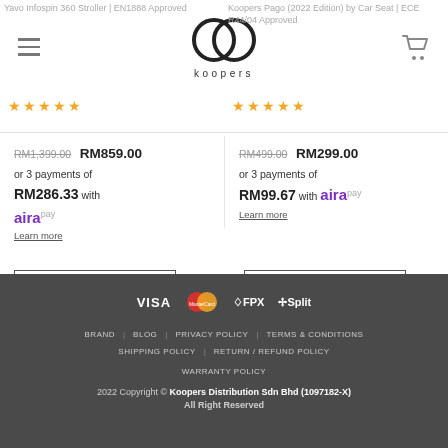Koopers logo, hamburger menu, cart icon
Yavo Infospin 360 Stroller | EN1888 Approved
Koopers Pago (2022 Edition) by Car Seat | ECE R44/04 Approved
RM1,399.00 RM859.00 or 3 payments of RM286.33 with AiraPay Learn more
RM499.00 RM299.00 or 3 payments of RM99.67 with AiraPay Learn more
SELECT OPTIONS
SELECT OPTIONS
VISA | MasterCard | FPX | Split | BRAND | BLOG | PRIVACY POLICY | TERMS & CONDITIONS | SHIPPING POLICY | RETURN / REFUND POLICY | WARRANTY POLICY | 2022 Copyright © Koopers Distribution Sdn Bhd (1097182-X) All Right Reserved